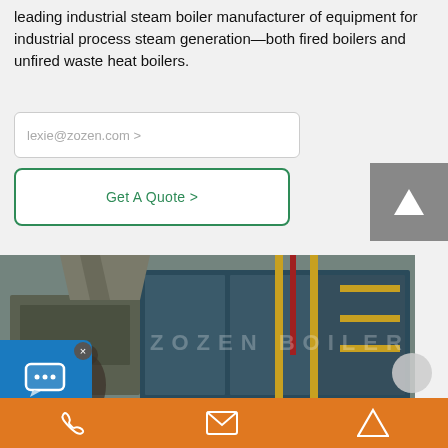leading industrial steam boiler manufacturer of equipment for industrial process steam generation—both fired boilers and unfired waste heat boilers.
lexie@zozen.com >
Get A Quote >
[Figure (photo): Industrial steam boiler installation inside a factory showing large blue boiler units with yellow gas piping and valves, worker visible in background]
Chat online